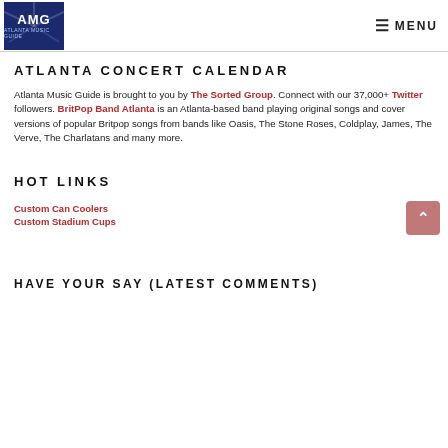AMG | MENU
ATLANTA CONCERT CALENDAR
Atlanta Music Guide is brought to you by The Sorted Group. Connect with our 37,000+ Twitter followers. BritPop Band Atlanta is an Atlanta-based band playing original songs and cover versions of popular Britpop songs from bands like Oasis, The Stone Roses, Coldplay, James, The Verve, The Charlatans and many more.
HOT LINKS
Custom Can Coolers
Custom Stadium Cups
HAVE YOUR SAY (LATEST COMMENTS)